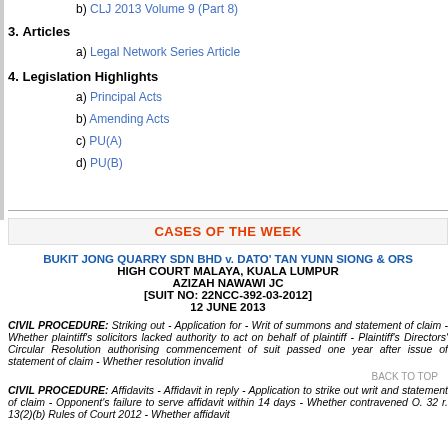b) CLJ 2013 Volume 9 (Part 8)
3. Articles
a) Legal Network Series Article
4. Legislation Highlights
a) Principal Acts
b) Amending Acts
c) PU(A)
d) PU(B)
CASES OF THE WEEK
BUKIT JONG QUARRY SDN BHD v. DATO' TAN YUNN SIONG & ORS HIGH COURT MALAYA, KUALA LUMPUR AZIZAH NAWAWI JC [SUIT NO: 22NCC-392-03-2012] 12 JUNE 2013
CIVIL PROCEDURE: Striking out - Application for - Writ of summons and statement of claim - Whether plaintiff's solicitors lacked authority to act on behalf of plaintiff - Plaintiff's Directors' Circular Resolution authorising commencement of suit passed one year after issue of statement of claim - Whether resolution invalid
CIVIL PROCEDURE: Affidavits - Affidavit in reply - Application to strike out writ and statement of claim - Opponent's failure to serve affidavit within 14 days - Whether contravened O. 32 r. 13(2)(b) Rules of Court 2012 - Whether affidavit...